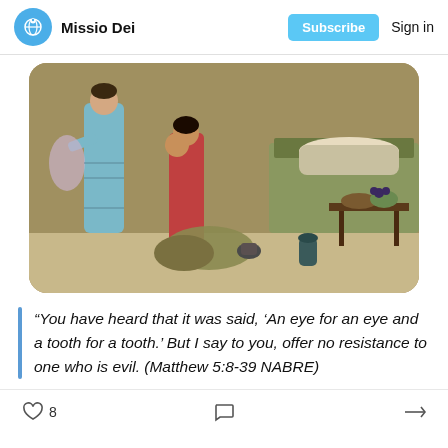Missio Dei  Subscribe  Sign in
[Figure (illustration): Classical painting showing women in ancient/biblical dress gathered around a reclining figure on a bed, with a table bearing food items in the foreground.]
“You have heard that it was said, ‘An eye for an eye and a tooth for a tooth.’ But I say to you, offer no resistance to one who is evil. (Matthew 5:8-39 NABRE)